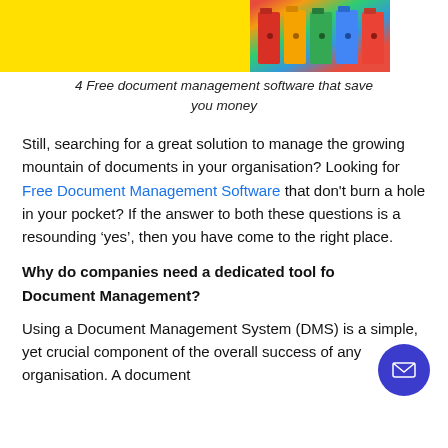[Figure (photo): Yellow banner background on left with colorful binder folders (red, orange, green, blue, red) on the right side against a white background]
4 Free document management software that save you money
Still, searching for a great solution to manage the growing mountain of documents in your organisation? Looking for Free Document Management Software that don't burn a hole in your pocket? If the answer to both these questions is a resounding ‘yes’, then you have come to the right place.
Why do companies need a dedicated tool for Document Management?
Using a Document Management System (DMS) is a simple, yet crucial component of the overall success of any organisation. A document